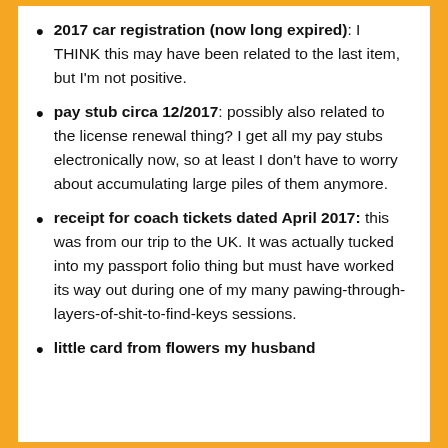2017 car registration (now long expired): I THINK this may have been related to the last item, but I'm not positive.
pay stub circa 12/2017: possibly also related to the license renewal thing? I get all my pay stubs electronically now, so at least I don't have to worry about accumulating large piles of them anymore.
receipt for coach tickets dated April 2017: this was from our trip to the UK. It was actually tucked into my passport folio thing but must have worked its way out during one of my many pawing-through-layers-of-shit-to-find-keys sessions.
little card from flowers my husband